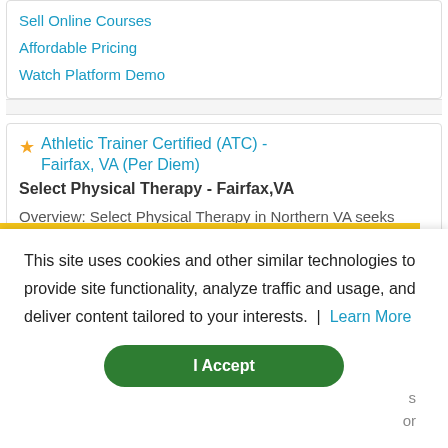Sell Online Courses
Affordable Pricing
Watch Platform Demo
Athletic Trainer Certified (ATC) - Fairfax, VA (Per Diem)
Select Physical Therapy - Fairfax,VA
Overview: Select Physical Therapy in Northern VA seeks multiple Athletic Trainers (ATC) for our sports contracts Select Physical Therapy in Northern Virginia is seeking multiple VA licensed athletic trainers for our various...
- 8 days ago
This site uses cookies and other similar technologies to provide site functionality, analyze traffic and usage, and deliver content tailored to your interests. | Learn More
I Accept